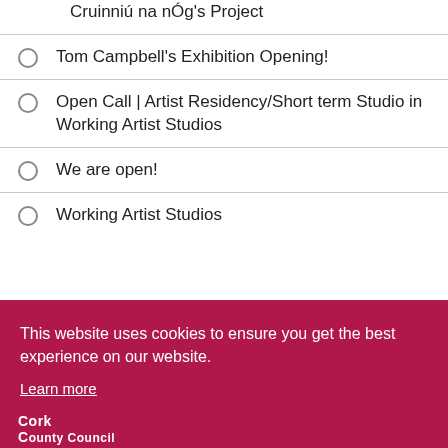Cruinniú na nÓg's Project
Tom Campbell's Exhibition Opening!
Open Call | Artist Residency/Short term Studio in Working Artist Studios
We are open!
Working Artist Studios
This website uses cookies to ensure you get the best experience on our website.
Learn more
Got it
Cork County Council